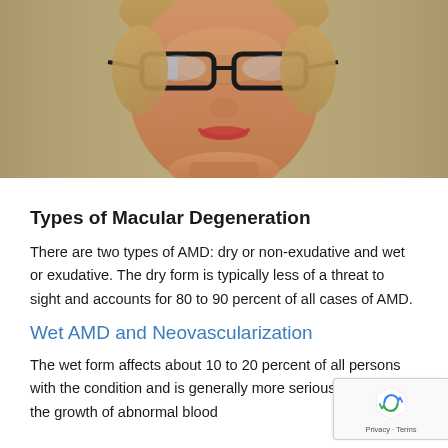[Figure (photo): Close-up photo of an elderly woman with short hair wearing thick-framed black glasses, smiling slightly, with red lipstick.]
Types of Macular Degeneration
There are two types of AMD: dry or non-exudative and wet or exudative. The dry form is typically less of a threat to sight and accounts for 80 to 90 percent of all cases of AMD.
Wet AMD and Neovascularization
The wet form affects about 10 to 20 percent of all persons with the condition and is generally more serious. It involves the growth of abnormal blood